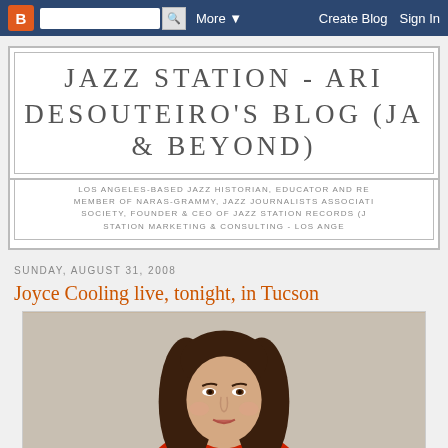B [Blogger logo] [search box] More ▼   Create Blog   Sign In
JAZZ STATION - AR... DESOUTEIRO'S BLOG (JA... & BEYOND)
LOS ANGELES-BASED JAZZ HISTORIAN, EDUCATOR AND RE... MEMBER OF NARAS-GRAMMY, JAZZ JOURNALISTS ASSOCIATI... SOCIETY, FOUNDER & CEO OF JAZZ STATION RECORDS (J... STATION MARKETING & CONSULTING - LOS ANGE...
SUNDAY, AUGUST 31, 2008
Joyce Cooling live, tonight, in Tucson
[Figure (photo): Portrait photo of a woman (Joyce Cooling) with long dark brown hair, light skin, wearing a red top, looking at camera]